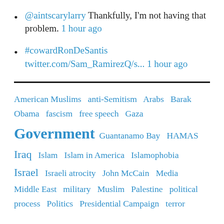@aintscarylarry Thankfully, I'm not having that problem. 1 hour ago
#cowardRonDeSantis twitter.com/Sam_RamirezQ/s... 1 hour ago
American Muslims  anti-Semitism  Arabs  Barak Obama  fascism  free speech  Gaza  Government  Guantanamo Bay  HAMAS  Iraq  Islam  Islam in America  Islamophobia  Israel  Israeli atrocity  John McCain  Media  Middle East  military  Muslim  Palestine  political process  Politics  Presidential Campaign  terror